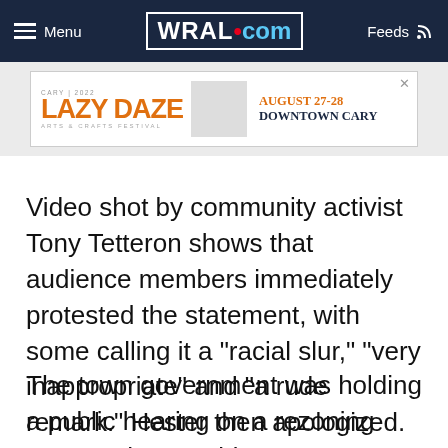Menu | WRAL.com | Feeds
[Figure (illustration): Lazy Daze Arts & Crafts Festival advertisement banner. August 27-28, Downtown Cary.]
Video shot by community activist Tony Tetteron shows that audience members immediately protested the statement, with some calling it a "racial slur," "very inappropriate" and "a rude remark." Hester then apologized.
The town government was holding a public hearing on a rezoning request that would